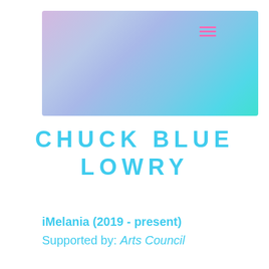[Figure (illustration): Gradient banner image with soft pink, lavender, blue and cyan gradient colors, with a pink hamburger menu icon in the upper right corner]
CHUCK BLUE LOWRY
iMelania (2019 - present)
Supported by: Arts Council